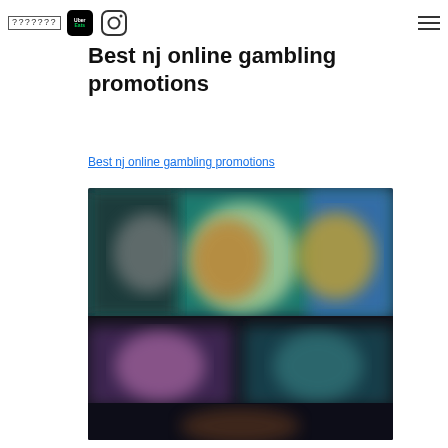??????? [icon row with Uber Eats logo, Instagram icon, hamburger menu]
Best nj online gambling promotions
Best nj online gambling promotions
[Figure (screenshot): Blurred screenshot of an online casino/gambling website showing colorful game thumbnails with animated characters on a dark background.]